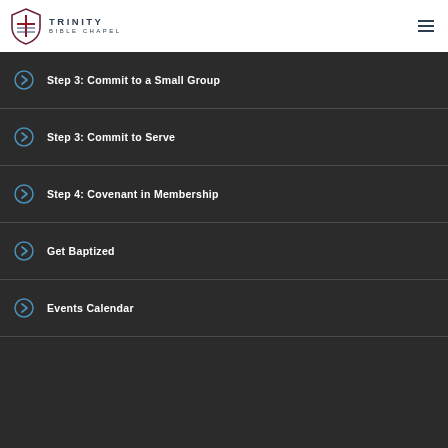Trinity Bible Chapel
Step 3: Commit to a Small Group
Step 3: Commit to Serve
Step 4: Covenant in Membership
Get Baptized
Events Calendar
Social media icons